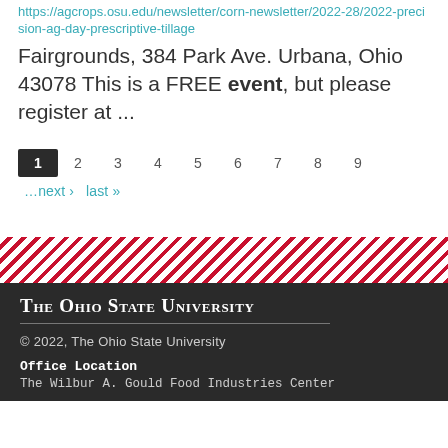https://agcrops.osu.edu/newsletter/corn-newsletter/2022-28/2022-precision-ag-day-prescriptive-tillage
Fairgrounds, 384 Park Ave. Urbana, Ohio 43078 This is a FREE event, but please register at ...
1 2 3 4 5 6 7 8 9 …next › last »
[Figure (other): Diagonal red and white stripe decorative band]
The Ohio State University
© 2022, The Ohio State University
Office Location
The Wilbur A. Gould Food Industries Center